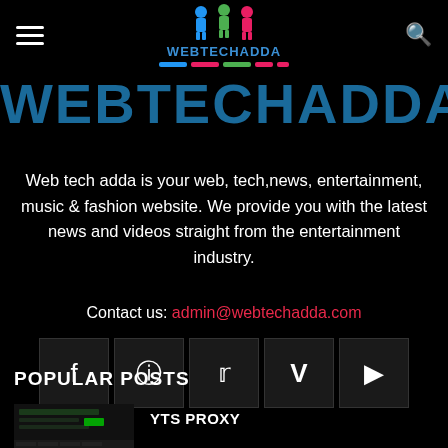WEBTECHADDA
WEBTECHADDA
Web tech adda is your web, tech,news, entertainment, music & fashion website. We provide you with the latest news and videos straight from the entertainment industry.
Contact us: admin@webtechadda.com
[Figure (infographic): Row of 5 social media icon buttons: Facebook, Instagram, Twitter, Vimeo, YouTube]
POPULAR POSTS
[Figure (screenshot): Thumbnail image of YTS Proxy article]
YTS PROXY